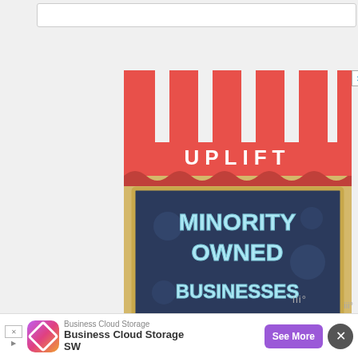[Figure (illustration): Advertisement banner showing a storefront awning illustration. Red and white striped awning at top with 'UPLIFT' text in white bold letters on a red band. Below is a dark navy chalkboard-style sign with light blue bold text reading 'MINORITY OWNED BUSINESSES'. The board has a golden/tan border. Background is light beige/tan.]
[Figure (infographic): Row of social media sharing buttons: Facebook (blue), Pinterest (red), share count box showing '2', WhatsApp (green), Email (green envelope), Twitter (blue), Print (gray), and another share button (blue).]
[Figure (illustration): Bottom advertisement bar with app logo (colorful diamond icon), text 'Business Cloud Storage' and 'Business Cloud Storage SW', a purple 'See More' button, and a close X button.]